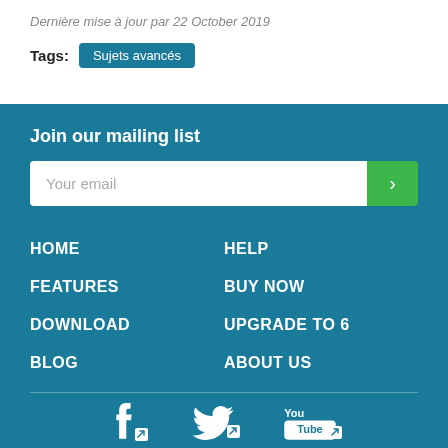Dernière mise à jour par 22 October 2019
Tags: Sujets avancés
Join our mailing list
Your email
HOME
HELP
FEATURES
BUY NOW
DOWNLOAD
UPGRADE TO 6
BLOG
ABOUT US
[Figure (illustration): Social media icons: Facebook, Twitter, YouTube]